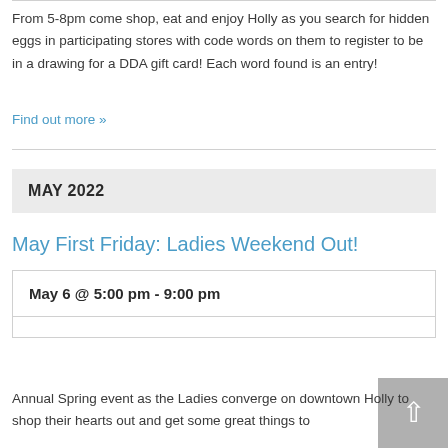From 5-8pm come shop, eat and enjoy Holly as you search for hidden eggs in participating stores with code words on them to register to be in a drawing for a DDA gift card! Each word found is an entry!
Find out more »
MAY 2022
May First Friday: Ladies Weekend Out!
| Date |
| --- |
| May 6 @ 5:00 pm - 9:00 pm |
Annual Spring event as the Ladies converge on downtown Holly to shop their hearts out and get some great things to